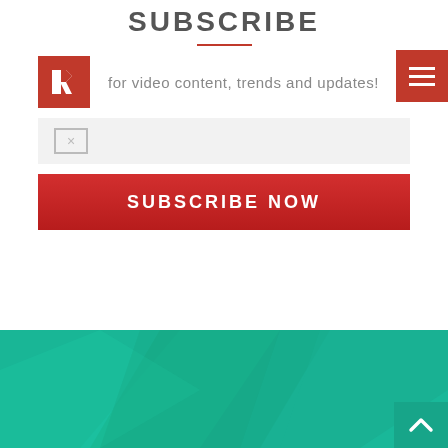SUBSCRIBE
[Figure (logo): Red square logo with white arrow icon]
for video content, trends and updates!
[Figure (screenshot): Email input field with envelope icon]
[Figure (infographic): Red SUBSCRIBE NOW button]
[Figure (illustration): Teal geometric polygon background section with back-to-top arrow button]